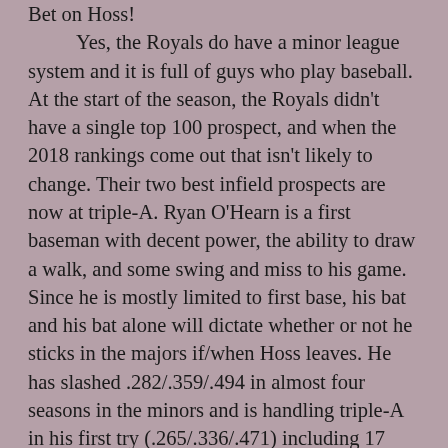Bet on Hoss! Yes, the Royals do have a minor league system and it is full of guys who play baseball. At the start of the season, the Royals didn't have a single top 100 prospect, and when the 2018 rankings come out that isn't likely to change. Their two best infield prospects are now at triple-A. Ryan O'Hearn is a first baseman with decent power, the ability to draw a walk, and some swing and miss to his game. Since he is mostly limited to first base, his bat and his bat alone will dictate whether or not he sticks in the majors if/when Hoss leaves. He has slashed .282/.359/.494 in almost four seasons in the minors and is handling triple-A in his first try (.265/.336/.471) including 17 homers through his first 378 at-bats. With only one hiccup season in the minors, but not exactly dominant performances since he left rookie ball, O'Hearn isn't someone to get excited about, but he could probably hit 20 homers, .250 hitter with a .330 on base...